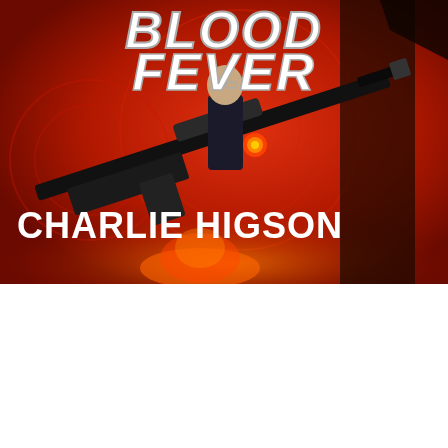[Figure (illustration): Book cover of Blood Fever by Charlie Higson. Red background with circular design. A figure in black holds a glowing orb. A large rifle/gun prop crosses diagonally. White bold italic text 'BLOOD FEVER' at top. White bold text 'CHARLIE HIGSON' in large letters across lower portion of cover.]
Publication of a new paperback edition of Charlie Higson's second Young Bond novel, Blood Fever (2006).
James Bond has discovered danger. Now it's come looking for him.
An Eton boy's family disappears at sea.
James uncovers a shadowy society operating in a hidden corner of the school.
And far from England, in the bandit-infested interior of Sardinia, a sinister Italian count has built himself a mountain fortress...